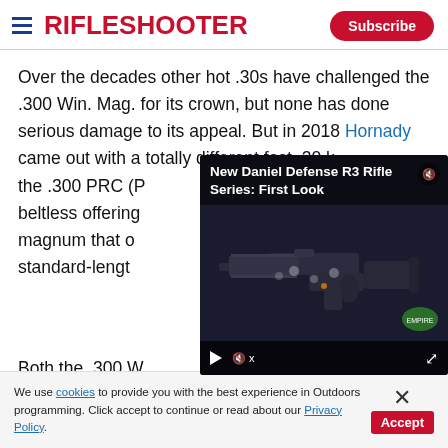RifleShooter
Over the decades other hot .30s have challenged the .300 Win. Mag. for its crown, but none has done serious damage to its appeal. But in 2018 Hornady came out with a totally different fast .30 known as the .300 PRC (P... beltless offering... magnum that o... standard-lengt...
[Figure (screenshot): Video overlay showing 'New Daniel Defense R3 Rifle Series: First Look' with an image of a black AR-style rifle with video player controls at the bottom]
Both the .300 W...
We use cookies to provide you with the best experience in Outdoors programming. Click accept to continue or read about our Privacy Policy.